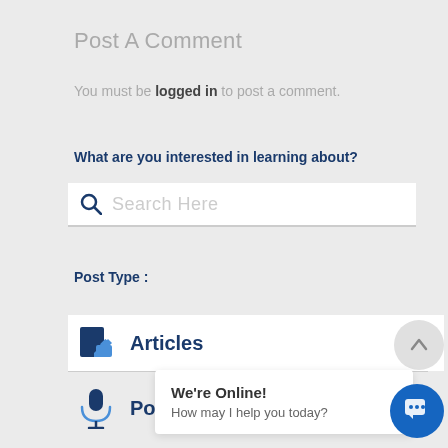Post A Comment
You must be logged in to post a comment.
What are you interested in learning about?
[Figure (screenshot): Search bar with magnifying glass icon and placeholder text 'Search Here']
Post Type :
[Figure (screenshot): Articles row with book/pen icon, bold 'Articles' text and right arrow]
[Figure (screenshot): Podcast row with microphone icon and partial 'Po' text visible]
[Figure (screenshot): Chat popup overlay with 'We're Online!' and 'How may I help you today?' and blue chat button]